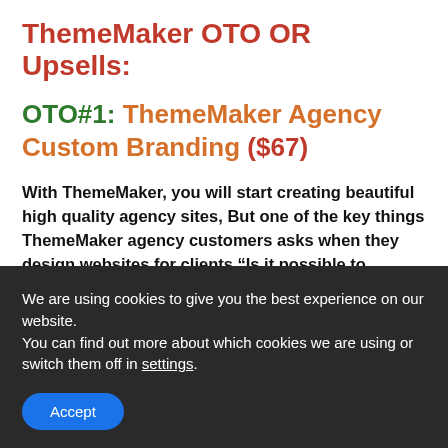ThemeMaker OTO OR Upsells:
OTO#1: ThemeMaker Agency Custom Branding ($67)
With ThemeMaker, you will start creating beautiful high quality agency sites, But one of the key things ThemeMaker agency customers asks when they design websites for clients “Is it possible to rebrand ThemeMaker so that my customers don’t see what I’m using to build sites for them?”
See, when you charge a premium price for creating
We are using cookies to give you the best experience on our website.
You can find out more about which cookies we are using or switch them off in settings.
Accept